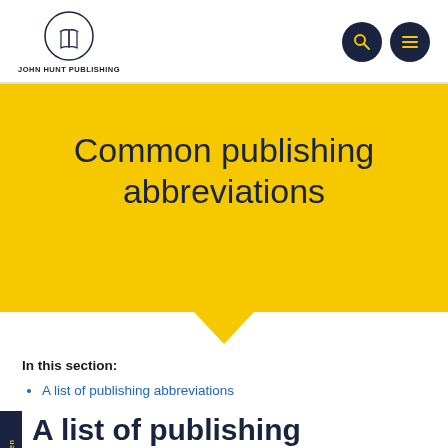JOHN HUNT PUBLISHING
Common publishing abbreviations
In this section:
A list of publishing abbreviations
A list of publishing abbreviations